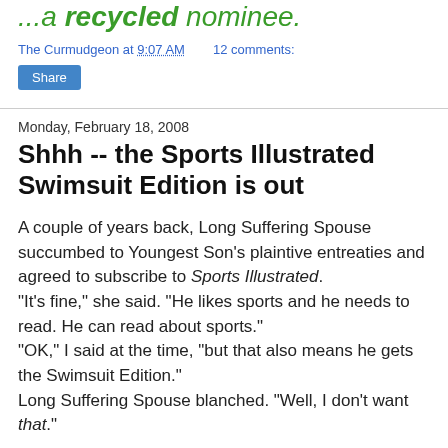...a recycled nominee.
The Curmudgeon at 9:07 AM   12 comments:
Share
Monday, February 18, 2008
Shhh -- the Sports Illustrated Swimsuit Edition is out
A couple of years back, Long Suffering Spouse succumbed to Youngest Son's plaintive entreaties and agreed to subscribe to Sports Illustrated.
"It's fine," she said. "He likes sports and he needs to read. He can read about sports."
"OK," I said at the time, "but that also means he gets the Swimsuit Edition."
Long Suffering Spouse blanched. "Well, I don't want that."